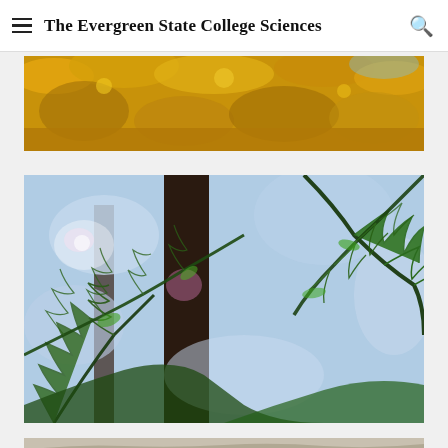The Evergreen State College Sciences
[Figure (photo): Close-up of golden autumn leaves against blue sky]
[Figure (photo): Looking up through cedar or redwood tree branches with feathery green foliage against blue sky, with sunlight filtering through]
[Figure (photo): Partial view of a third image at the bottom of the page, appears to be plant/nature related]